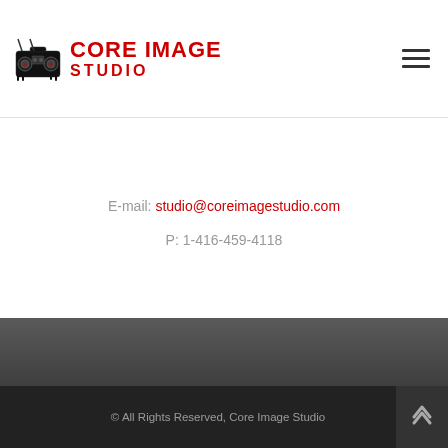[Figure (logo): Core Image Studio logo with boombox graphic and red text]
E-mail: studio@coreimagestudio.com
P: 1-416-459-4118
© All Rights Reserved, Core Image Studio